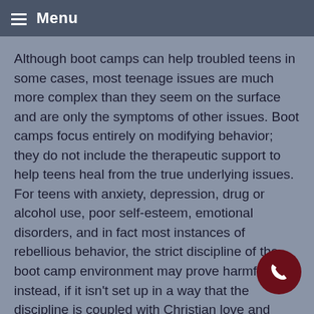Menu
Although boot camps can help troubled teens in some cases, most teenage issues are much more complex than they seem on the surface and are only the symptoms of other issues. Boot camps focus entirely on modifying behavior; they do not include the therapeutic support to help teens heal from the true underlying issues. For teens with anxiety, depression, drug or alcohol use, poor self-esteem, emotional disorders, and in fact most instances of rebellious behavior, the strict discipline of the boot camp environment may prove harmful instead, if it isn't set up in a way that the discipline is coupled with Christian love and support.
Most boot camps in Satellite Beach, FL on their own will not deal with family problems but simply return a somewhat more compliant teen to the same home situation in which he was struggling. Then he will return to old habits. For this